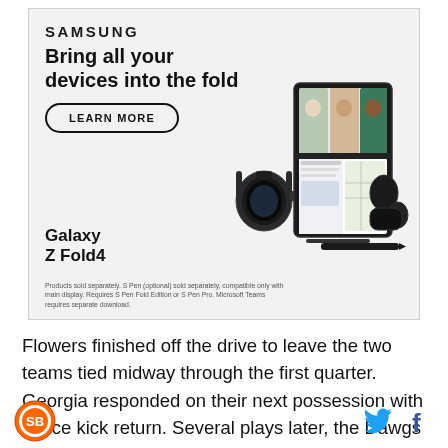[Figure (infographic): Samsung advertisement for Galaxy Z Fold4. Shows Samsung logo, headline 'Bring all your devices into the fold', a 'LEARN MORE' button, 'Galaxy Z Fold4' product label, product images of a smartwatch, foldable phone showing video call, and earbuds, plus a disclaimer text.]
Flowers finished off the drive to leave the two teams tied midway through the first quarter. Georgia responded on their next possession with a nice kick return. Several plays later, the Dawgs caught Clemson
[SB Nation logo] [Twitter icon] [Facebook icon]